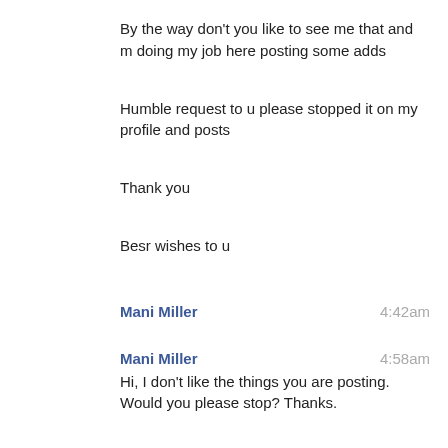By the way don't you like to see me that and m doing my job here posting some adds
Humble request to u please stopped it on my profile and posts
Thank you
Besr wishes to u
Mani Miller  4:42am
Mani Miller  4:58am
Hi, I don't like the things you are posting. Would you please stop? Thanks.
I know that scammer don't like my postings. His message shows only that he knows that he is offering illegal generated